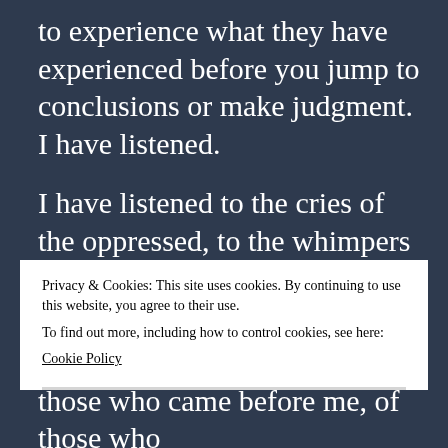to experience what they have experienced before you jump to conclusions or make judgment. I have listened.
I have listened to the cries of the oppressed, to the whimpers of those who were too afraid to speak up, to those who could not speak up. I have listened to the sound of naysayers and those who
Privacy & Cookies: This site uses cookies. By continuing to use this website, you agree to their use.
To find out more, including how to control cookies, see here:
Cookie Policy
Close and accept
those who came before me, of those who